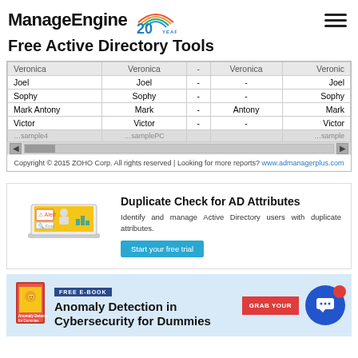ManageEngine 20 YEARS | Free Active Directory Tools
[Figure (screenshot): Partial table showing user data rows: Veronica, Joel, Sophy, Mark Antony, Victor with columns for name variations. Horizontal scrollbar at bottom.]
Copyright © 2015 ZOHO Corp. All rights reserved | Looking for more reports? www.admanagerplus.com
[Figure (illustration): Illustration of a laptop with yellow background showing a person and charts, with alert icons]
Duplicate Check for AD Attributes
Identify and manage Active Directory users with duplicate attributes.
Start your free trial
[Figure (infographic): Bottom banner: FREE E-BOOK — Anomaly Detection in Cybersecurity for Dummies with GRAB YOUR button and chat bubble]
FREE E-BOOK
Anomaly Detection in Cybersecurity for Dummies
GRAB YOUR